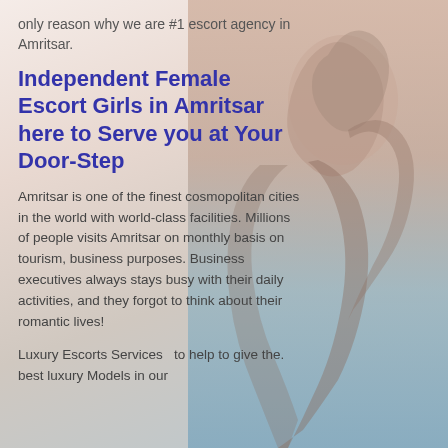only reason why we are #1 escort agency in Amritsar.
Independent Female Escort Girls in Amritsar here to Serve you at Your Door-Step
Amritsar is one of the finest cosmopolitan cities in the world with world-class facilities. Millions of people visits Amritsar on monthly basis on tourism, business purposes. Business executives always stays busy with their daily activities, and they forgot to think about their romantic lives!
Luxury Escorts Services  to help to give the. best luxury Models in our
[Figure (photo): Background photo of a woman with long dark hair, partially visible, with a beach/ocean scene behind her, with pinkish-blue tones]